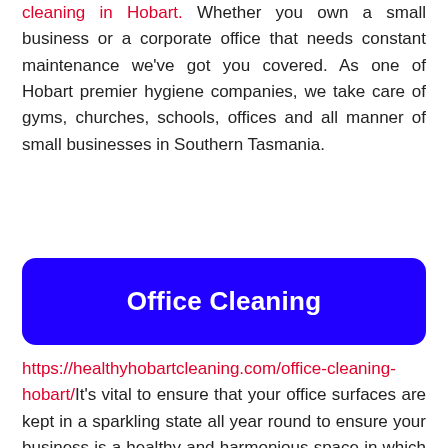cleaning in Hobart. Whether you own a small business or a corporate office that needs constant maintenance we've got you covered. As one of Hobart premier hygiene companies, we take care of gyms, churches, schools, offices and all manner of small businesses in Southern Tasmania.
Office Cleaning
https://healthyhobartcleaning.com/office-cleaning-hobart/ It's vital to ensure that your office surfaces are kept in a sparkling state all year round to ensure your business is a healthy and harmonious space in which people enjoy working in and visiting. Cleanliness has